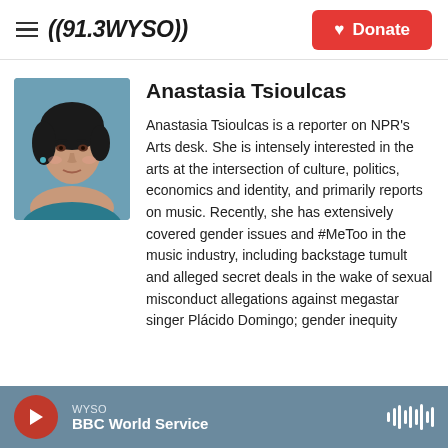((91.3WYSO)) | Donate
[Figure (photo): Headshot photo of Anastasia Tsioulcas, a woman with dark hair]
Anastasia Tsioulcas
Anastasia Tsioulcas is a reporter on NPR's Arts desk. She is intensely interested in the arts at the intersection of culture, politics, economics and identity, and primarily reports on music. Recently, she has extensively covered gender issues and #MeToo in the music industry, including backstage tumult and alleged secret deals in the wake of sexual misconduct allegations against megastar singer Plácido Domingo; gender inequity
WYSO
BBC World Service